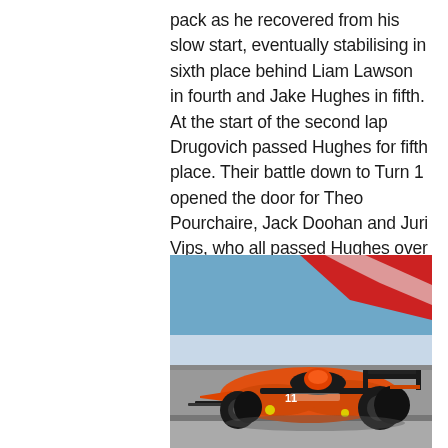pack as he recovered from his slow start, eventually stabilising in sixth place behind Liam Lawson in fourth and Jake Hughes in fifth. At the start of the second lap Drugovich passed Hughes for fifth place. Their battle down to Turn 1 opened the door for Theo Pourchaire, Jack Doohan and Juri Vips, who all passed Hughes over the course of the lap to demote the Van Amersfoort driver down to eighth.
[Figure (photo): An orange Formula 2 racing car with number 11, photographed at speed on a racing circuit with red and blue kerbing visible in the background.]